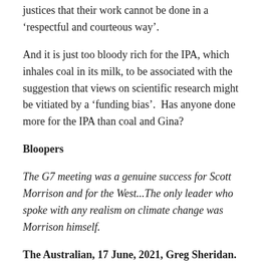justices that their work cannot be done in a 'respectful and courteous way'.
And it is just too bloody rich for the IPA, which inhales coal in its milk, to be associated with the suggestion that views on scientific research might be vitiated by a 'funding bias'.  Has anyone done more for the IPA than coal and Gina?
Bloopers
The G7 meeting was a genuine success for Scott Morrison and for the West...The only leader who spoke with any realism on climate change was Morrison himself.
The Australian, 17 June, 2021, Greg Sheridan.